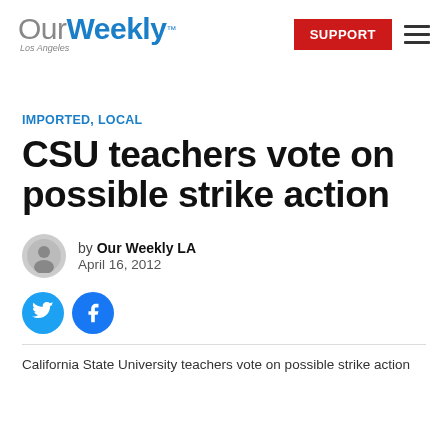Our Weekly Los Angeles — SUPPORT
IMPORTED, LOCAL
CSU teachers vote on possible strike action
by Our Weekly LA
April 16, 2012
California State University teachers vote on possible strike action